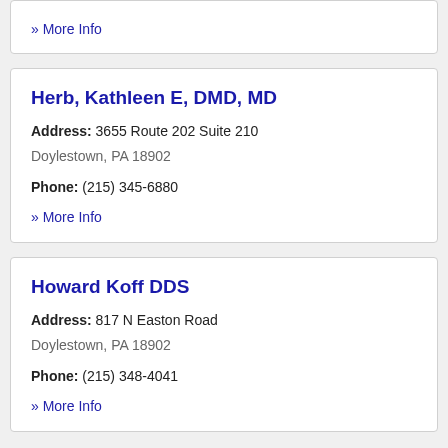» More Info
Herb, Kathleen E, DMD, MD
Address: 3655 Route 202 Suite 210
Doylestown, PA 18902
Phone: (215) 345-6880
» More Info
Howard Koff DDS
Address: 817 N Easton Road
Doylestown, PA 18902
Phone: (215) 348-4041
» More Info